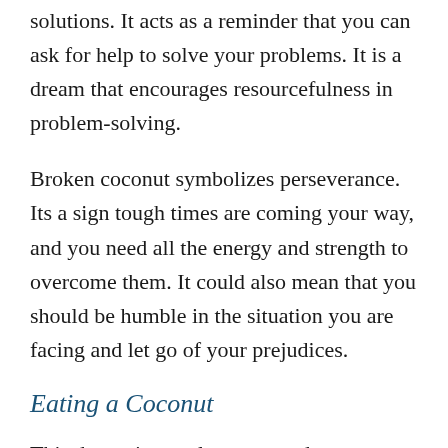solutions. It acts as a reminder that you can ask for help to solve your problems. It is a dream that encourages resourcefulness in problem-solving.
Broken coconut symbolizes perseverance. Its a sign tough times are coming your way, and you need all the energy and strength to overcome them. It could also mean that you should be humble in the situation you are facing and let go of your prejudices.
Eating a Coconut
This dream is mostly vague and can represent either good or bad news. Eating a coconut in a dream might indicate that you will face some challenges along the way to achieving your goals. So, brace yourself...